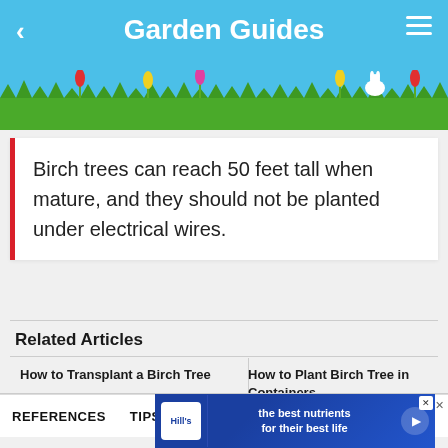Garden Guides
Birch trees can reach 50 feet tall when mature, and they should not be planted under electrical wires.
Related Articles
How to Transplant a Birch Tree
How to Plant Birch Trees in Containers
REFERENCES
TIPS
WARNINGS
WRIT
[Figure (screenshot): Hill's pet nutrition advertisement banner: 'the best nutrients for their best life']